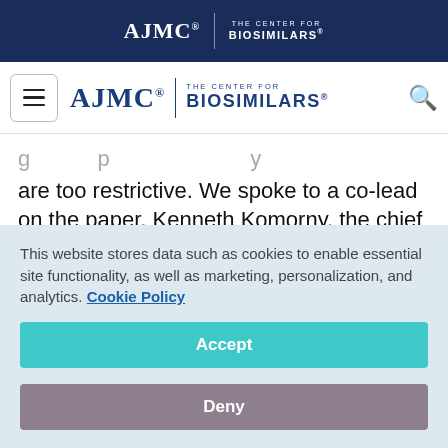[Figure (logo): AJMC and The Center for Biosimilars logo in dark navy top bar]
[Figure (logo): AJMC The Center for Biosimilars navigation logo with hamburger menu and search icon]
are too restrictive. We spoke to a co-lead on the paper, Kenneth Komorny, the chief of pharmacy at Moffitt Cancer Center. Dr Komorny worked with a team of 10 others, including Ryan Roux, vice president of pharmacy at the University of
This website stores data such as cookies to enable essential site functionality, as well as marketing, personalization, and analytics. Cookie Policy
Accept
Deny